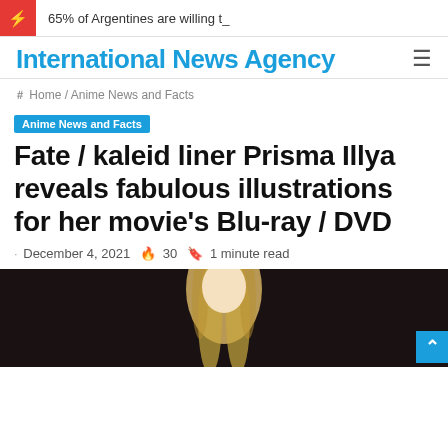65% of Argentines are willing t_
International News Agency
Home / Anime News and Facts
Anime News and Facts
Fate / kaleid liner Prisma Illya reveals fabulous illustrations for her movie's Blu-ray / DVD
December 4, 2021  30  1 minute read
[Figure (photo): Anime character with blonde hair against a dark background]